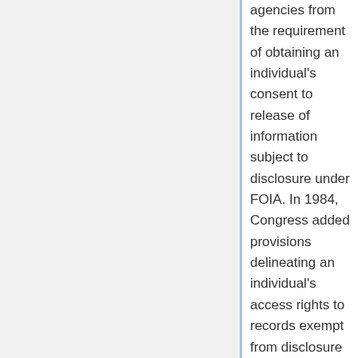agencies from the requirement of obtaining an individual's consent to release of information subject to disclosure under FOIA. In 1984, Congress added provisions delineating an individual's access rights to records exempt from disclosure under FOIA or the Privacy Act. An